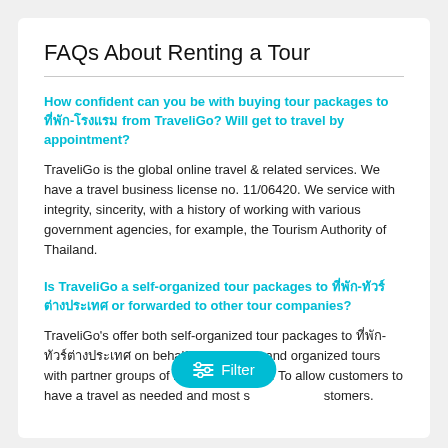FAQs About Renting a Tour
How confident can you be with buying tour packages to ที่พัก-โรงแรม from TraveliGo? Will get to travel by appointment?
TraveliGo is the global online travel & related services. We have a travel business license no. 11/06420. We service with integrity, sincerity, with a history of working with various government agencies, for example, the Tourism Authority of Thailand.
Is TraveliGo a self-organized tour packages to ที่พัก-ทัวร์ต่างประเทศ or forwarded to other tour companies?
TraveliGo's offer both self-organized tour packages to ที่พัก-ทัวร์ต่างประเทศ on behalf of TraveliGo and organized tours with partner groups of leading agencies. To allow customers to have a travel as needed and most s...stomers.